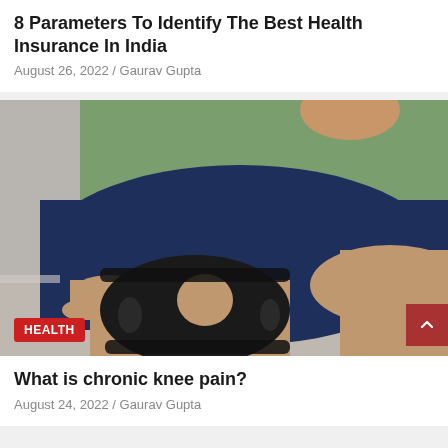8 Parameters To Identify The Best Health Insurance In India
August 26, 2022 / Gaurav Gupta
[Figure (photo): Man sitting on a couch wearing a black knee brace support on his left knee, wearing green t-shirt and navy shorts. A red HEALTH badge is overlaid at the bottom left.]
What is chronic knee pain?
August 24, 2022 / Gaurav Gupta